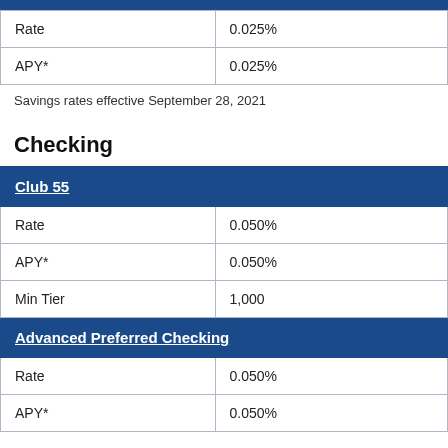|  |  |
| --- | --- |
| Rate | 0.025% |
| APY* | 0.025% |
Savings rates effective September 28, 2021
Checking
| Club 55 |  |
| --- | --- |
| Rate | 0.050% |
| APY* | 0.050% |
| Min Tier | 1,000 |
| Advanced Preferred Checking |  |
| Rate | 0.050% |
| APY* | 0.050% |